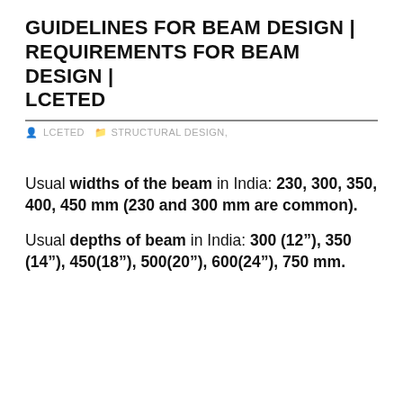GUIDELINES FOR BEAM DESIGN | REQUIREMENTS FOR BEAM DESIGN | LCETED
LCETED  STRUCTURAL DESIGN,
Usual widths of the beam in India: 230, 300, 350, 400, 450 mm (230 and 300 mm are common).
Usual depths of beam in India: 300 (12”), 350 (14”), 450(18”), 500(20”), 600(24”), 750 mm.